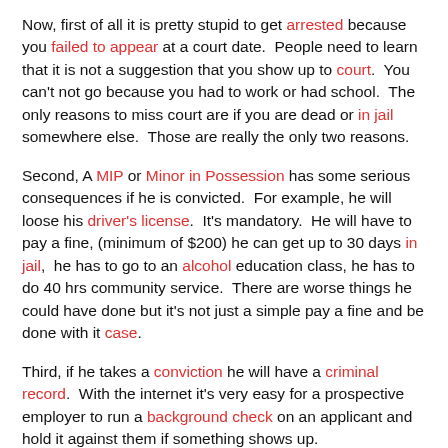Now, first of all it is pretty stupid to get arrested because you failed to appear at a court date.  People need to learn that it is not a suggestion that you show up to court.  You can't not go because you had to work or had school.  The only reasons to miss court are if you are dead or in jail somewhere else.  Those are really the only two reasons.
Second, A MIP or Minor in Possession has some serious consequences if he is convicted.  For example, he will loose his driver's license.  It's mandatory.  He will have to pay a fine, (minimum of $200) he can get up to 30 days in jail,  he has to go to an alcohol education class, he has to do 40 hrs community service.  There are worse things he could have done but it's not just a simple pay a fine and be done with it case.
Third, if he takes a conviction he will have a criminal record.  With the internet it's very easy for a prospective employer to run a background check on an applicant and hold it against them if something shows up.